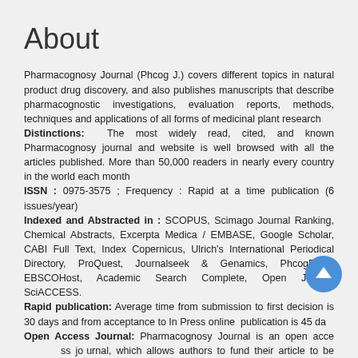About
Pharmacognosy Journal (Phcog J.) covers different topics in natural product drug discovery, and also publishes manuscripts that describe pharmacognostic investigations, evaluation reports, methods, techniques and applications of all forms of medicinal plant research
Distinctions: The most widely read, cited, and known Pharmacognosy journal and website is well browsed with all the articles published. More than 50,000 readers in nearly every country in the world each month
ISSN : 0975-3575 ; Frequency : Rapid at a time publication (6 issues/year)
Indexed and Abstracted in : SCOPUS, Scimago Journal Ranking, Chemical Abstracts, Excerpta Medica / EMBASE, Google Scholar, CABI Full Text, Index Copernicus, Ulrich's International Periodical Directory, ProQuest, Journalseek & Genamics, PhcogBase, EBSCOHost, Academic Search Complete, Open J-Gate, SciACCESS.
Rapid publication: Average time from submission to first decision is 30 days and from acceptance to In Press online publication is 45 da
Open Access Journal: Pharmacognosy Journal is an open access journal, which allows authors to fund their article to be open access from publication.